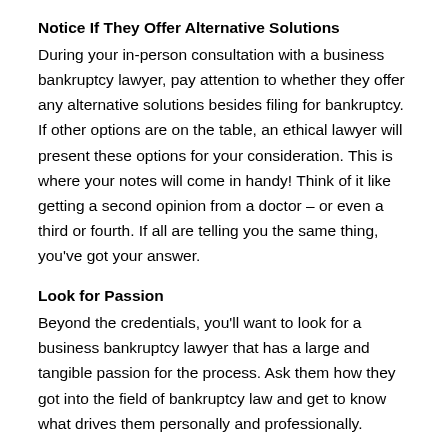Notice If They Offer Alternative Solutions
During your in-person consultation with a business bankruptcy lawyer, pay attention to whether they offer any alternative solutions besides filing for bankruptcy. If other options are on the table, an ethical lawyer will present these options for your consideration. This is where your notes will come in handy! Think of it like getting a second opinion from a doctor – or even a third or fourth. If all are telling you the same thing, you've got your answer.
Look for Passion
Beyond the credentials, you'll want to look for a business bankruptcy lawyer that has a large and tangible passion for the process. Ask them how they got into the field of bankruptcy law and get to know what drives them personally and professionally.